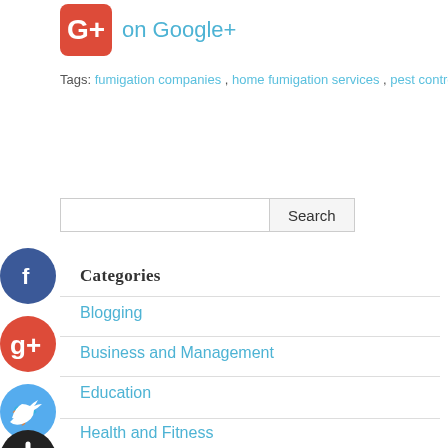[Figure (logo): Google+ red rounded square badge icon with G+ text, followed by 'on Google+' text in blue]
Tags: fumigation companies , home fumigation services , pest control services
[Figure (other): Search input box with Search button]
Categories
Blogging
Business and Management
Education
Health and Fitness
Home and Garden